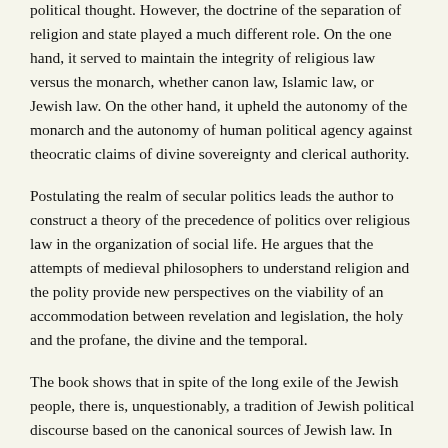political thought. However, the doctrine of the separation of religion and state played a much different role. On the one hand, it served to maintain the integrity of religious law versus the monarch, whether canon law, Islamic law, or Jewish law. On the other hand, it upheld the autonomy of the monarch and the autonomy of human political agency against theocratic claims of divine sovereignty and clerical authority.
Postulating the realm of secular politics leads the author to construct a theory of the precedence of politics over religious law in the organization of social life. He argues that the attempts of medieval philosophers to understand religion and the polity provide new perspectives on the viability of an accommodation between revelation and legislation, the holy and the profane, the divine and the temporal.
The book shows that in spite of the long exile of the Jewish people, there is, unquestionably, a tradition of Jewish political discourse based on the canonical sources of Jewish law. In addition to providing a fresh analysis of Maimonides, it analyzes works of